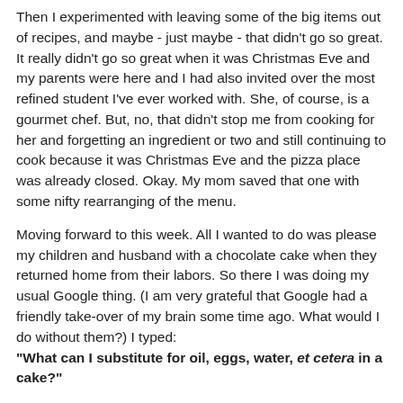Then I experimented with leaving some of the big items out of recipes, and maybe - just maybe - that didn't go so great. It really didn't go so great when it was Christmas Eve and my parents were here and I had also invited over the most refined student I've ever worked with. She, of course, is a gourmet chef. But, no, that didn't stop me from cooking for her and forgetting an ingredient or two and still continuing to cook because it was Christmas Eve and the pizza place was already closed. Okay. My mom saved that one with some nifty rearranging of the menu.
Moving forward to this week. All I wanted to do was please my children and husband with a chocolate cake when they returned home from their labors. So there I was doing my usual Google thing. (I am very grateful that Google had a friendly take-over of my brain some time ago. What would I do without them?) I typed: "What can I substitute for oil, eggs, water, et cetera in a cake?"
It was such a simple question; one I've used 20.1 million times already this week decade. But do you know what the